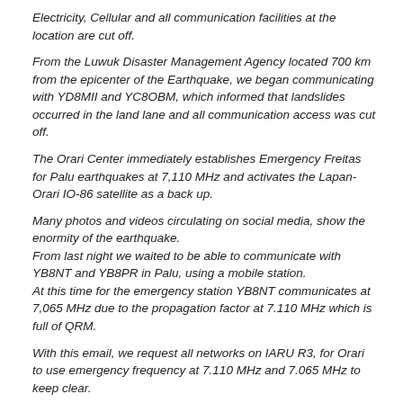Electricity, Cellular and all communication facilities at the location are cut off.
From the Luwuk Disaster Management Agency located 700 km from the epicenter of the Earthquake, we began communicating with YD8MII and YC8OBM, which informed that landslides occurred in the land lane and all communication access was cut off.
The Orari Center immediately establishes Emergency Freitas for Palu earthquakes at 7,110 MHz and activates the Lapan-Orari IO-86 satellite as a back up.
Many photos and videos circulating on social media, show the enormity of the earthquake.
From last night we waited to be able to communicate with YB8NT and YB8PR in Palu, using a mobile station.
At this time for the emergency station YB8NT communicates at 7,065 MHz due to the propagation factor at 7.110 MHz which is full of QRM.
With this email, we request all networks on IARU R3, for Orari to use emergency frequency at 7.110 MHz and 7.065 MHz to keep clear.
This earthquake is could be worst than in Lombok in the end of last August.